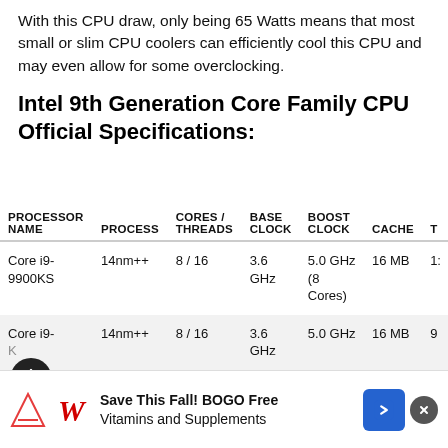With this CPU draw, only being 65 Watts means that most small or slim CPU coolers can efficiently cool this CPU and may even allow for some overclocking.
Intel 9th Generation Core Family CPU Official Specifications:
| PROCESSOR NAME | PROCESS | CORES / THREADS | BASE CLOCK | BOOST CLOCK | CACHE | T |
| --- | --- | --- | --- | --- | --- | --- |
| Core i9-9900KS | 14nm++ | 8 / 16 | 3.6 GHz | 5.0 GHz (8 Cores) | 16 MB | 1: |
| Core i9-
[K] | 14nm++ | 8 / 16 | 3.6 GHz | 5.0 GHz | 16 MB | 9 |
| Core i9-
9900KF | 14n... | 8 / 16... | 3.6... | 5.0 GHz | 16 MB |  |
[Figure (other): Advertisement banner: Save This Fall! BOGO Free Vitamins and Supplements (Walgreens ad) with close button]